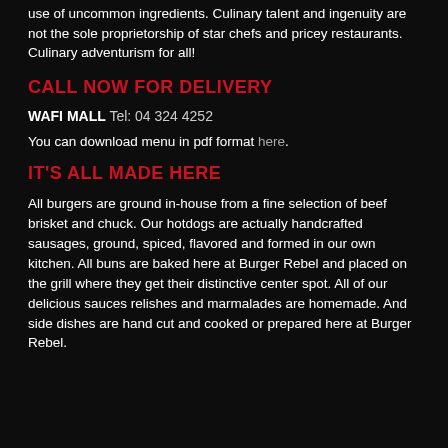use of uncommon ingredients. Culinary talent and ingenuity are not the sole proprietorship of star chefs and pricey restaurants. Culinary adventurism for all!
CALL NOW FOR DELIVERY
WAFI MALL Tel: 04 324 4252
You can download menu in pdf format here.
IT'S ALL MADE HERE
All burgers are ground in-house from a fine selection of beef brisket and chuck. Our hotdogs are actually handcrafted sausages, ground, spiced, flavored and formed in our own kitchen. All buns are baked here at Burger Rebel and placed on the grill where they get their distinctive center spot. All of our delicious sauces relishes and marmalades are homemade. And side dishes are hand cut and cooked or prepared here at Burger Rebel.